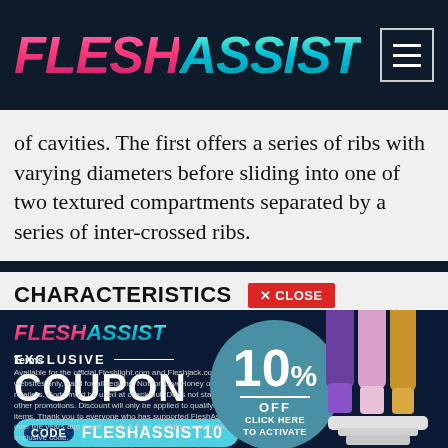[Figure (logo): FleshAssist logo in gradient italic bold text, pink 'FLESH' and teal 'ASSIST']
of cavities. The first offers a series of ribs with varying diameters before sliding into one of two textured compartments separated by a series of inter-crossed ribs.
CHARACTERISTICS
[Figure (infographic): Coupon popup overlay showing FleshAssist logo, EXCLUSIVE COUPON label, 10% OFF circle graphic, discount code FLESHASSIST10, product images of Fleshlight sleeves, and terms text.]